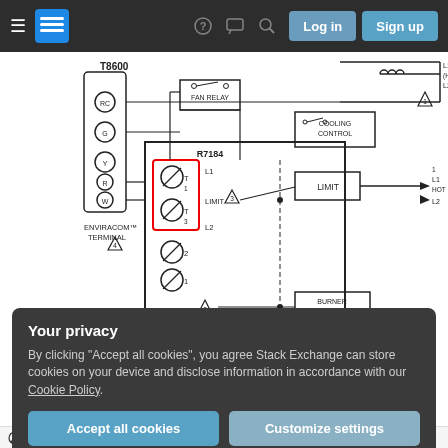[Figure (screenshot): Stack Exchange website navigation bar with hamburger menu, logo, help icon, chat icon, search icon, Log in and Sign up buttons on dark background]
[Figure (engineering-diagram): Wiring diagram for T8600 thermostat and R7184 burner control showing connections between ENVIRACOM terminal, fan relay, cooling control, limit, burner motor, and ignitor components. T1 and T3 terminals on R7184 are highlighted with a red rectangle.]
Your privacy
By clicking "Accept all cookies", you agree Stack Exchange can store cookies on your device and disclose information in accordance with our Cookie Policy.
Accept all cookies
Customize settings
LEGEND:  SCREW TERMINAL  →→  1/4 IN. QUICK CONNECT TERMINAL